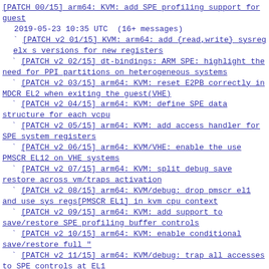[PATCH 00/15] arm64: KVM: add SPE profiling support for guest
2019-05-23 10:35 UTC  (16+ messages)
[PATCH v2 01/15] KVM: arm64: add {read,write} sysreg elx s versions for new registers
[PATCH v2 02/15] dt-bindings: ARM SPE: highlight the need for PPI partitions on heterogeneous systems
[PATCH v2 03/15] arm64: KVM: reset E2PB correctly in MDCR EL2 when exiting the guest(VHE)
[PATCH v2 04/15] arm64: KVM: define SPE data structure for each vcpu
[PATCH v2 05/15] arm64: KVM: add access handler for SPE system registers
[PATCH v2 06/15] arm64: KVM/VHE: enable the use PMSCR EL12 on VHE systems
[PATCH v2 07/15] arm64: KVM: split debug save restore across vm/traps activation
[PATCH v2 08/15] arm64: KVM/debug: drop pmscr el1 and use sys regs[PMSCR EL1] in kvm cpu context
[PATCH v2 09/15] arm64: KVM: add support to save/restore SPE profiling buffer controls
[PATCH v2 10/15] arm64: KVM: enable conditional save/restore full "
[PATCH v2 11/15] arm64: KVM/debug: trap all accesses to SPE controls at EL1
[PATCH v2 12/15] KVM: arm64: add a new vcpu device control group for SPEv1
[PATCH v2 13/15] KVM: arm64: enable SPE support
[PATCH v2 14/15][KVMTOOL] update headers: Sync kvm UAPI headers with linux v5.2-rc1